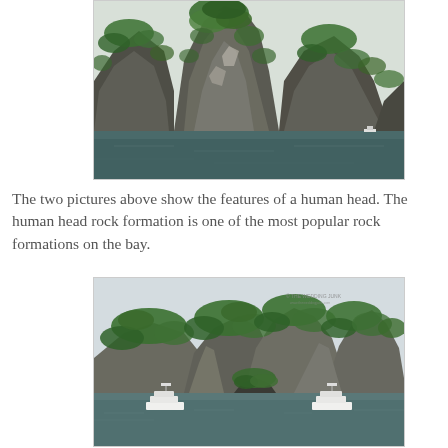[Figure (photo): Photo of a large karst limestone rock formation in Ha Long Bay, Vietnam, covered with green vegetation, rising from dark teal water. The rock has a shape resembling a human head profile.]
The two pictures above show the features of a human head. The human head rock formation is one of the most popular rock formations on the bay.
[Figure (photo): Wide photo of multiple karst limestone islands in Ha Long Bay, Vietnam, covered with green trees, with two white tour boats visible on the water in the foreground. A watermark reading '© THE WEDDING JUNK' is visible in the upper right area.]